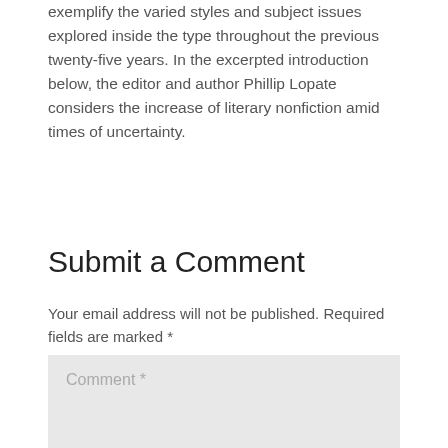exemplify the varied styles and subject issues explored inside the type throughout the previous twenty-five years. In the excerpted introduction below, the editor and author Phillip Lopate considers the increase of literary nonfiction amid times of uncertainty.
Submit a Comment
Your email address will not be published. Required fields are marked *